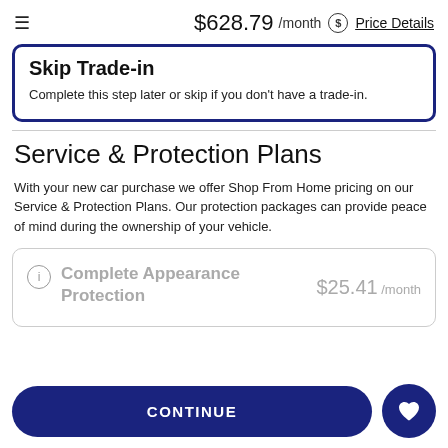$628.79 /month  Price Details
Skip Trade-in
Complete this step later or skip if you don't have a trade-in.
Service & Protection Plans
With your new car purchase we offer Shop From Home pricing on our Service & Protection Plans. Our protection packages can provide peace of mind during the ownership of your vehicle.
Complete Appearance Protection  $25.41 /month
CONTINUE